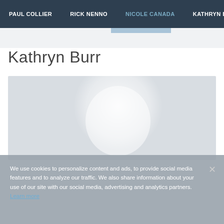PAUL COLLIER  RICK NENNO  NICOLE CANADA  KATHRYN BURR
Kathryn Burr
[Figure (photo): Faded portrait photo of Kathryn Burr, a woman with light blonde hair smiling, shown against a light gray background]
We use cookies to personalize content and ads, to provide social media features and to analyze our traffic. We also share information about your use of our site with our social media, advertising and analytics partners. Learn more